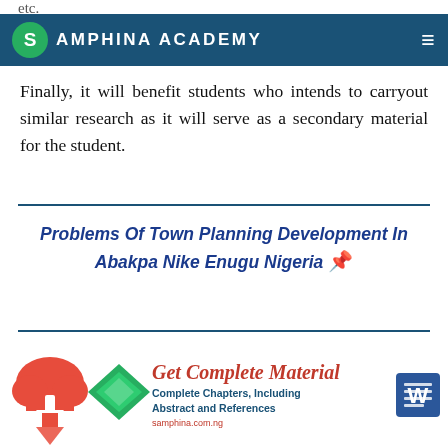SAMPHINA ACADEMY
Finally, it will benefit students who intends to carryout similar research as it will serve as a secondary material for the student.
Problems Of Town Planning Development In Abakpa Nike Enugu Nigeria
[Figure (infographic): Get Complete Material banner with red cloud/download icon, green diamond/book icon, red cursive text 'Get Complete Material', blue text 'Complete Chapters, Including Abstract and References', Microsoft Word icon, and URL samphina.com.ng]